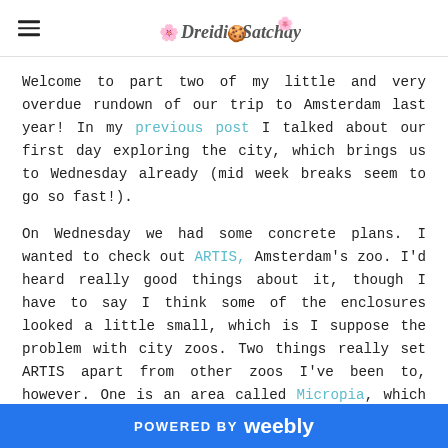Dreidi Satchay (blog logo/header)
Welcome to part two of my little and very overdue rundown of our trip to Amsterdam last year! In my previous post I talked about our first day exploring the city, which brings us to Wednesday already (mid week breaks seem to go so fast!).
On Wednesday we had some concrete plans. I wanted to check out ARTIS, Amsterdam's zoo. I'd heard really good things about it, though I have to say I think some of the enclosures looked a little small, which is I suppose the problem with city zoos. Two things really set ARTIS apart from other zoos I've been to, however. One is an area called Micropia, which is a 'zoo' dedicated to microbes. It sounds a bit
POWERED BY weebly